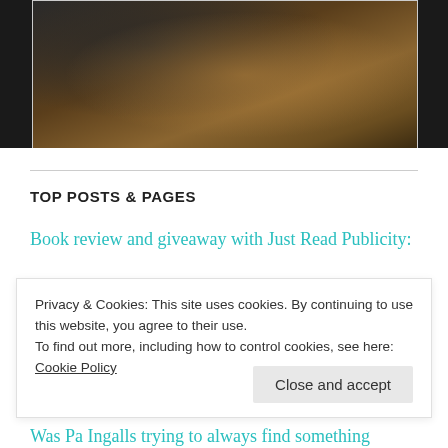[Figure (photo): Dark moody photo of a person reading or writing, with papers on a wooden surface, framed with a light border on dark background]
TOP POSTS & PAGES
Book review and giveaway with Just Read Publicity:
Privacy & Cookies: This site uses cookies. By continuing to use this website, you agree to their use.
To find out more, including how to control cookies, see here: Cookie Policy
Was Pa Ingalls trying to always find something